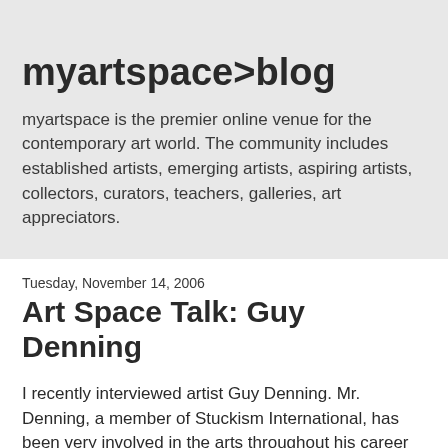myartspace>blog
myartspace is the premier online venue for the contemporary art world. The community includes established artists, emerging artists, aspiring artists, collectors, curators, teachers, galleries, art appreciators.
Tuesday, November 14, 2006
Art Space Talk: Guy Denning
I recently interviewed artist Guy Denning. Mr. Denning, a member of Stuckism International, has been very involved in the arts throughout his career as a painter. In 1997 he founded the Neomodern group and went on to establish the Bristol Stuckists group in 2004. Denning recently exhibited